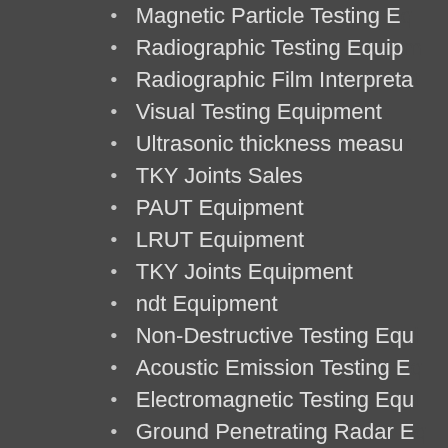Magnetic Particle Testing E…
Radiographic Testing Equip…
Radiographic Film Interpreta…
Visual Testing Equipment
Ultrasonic thickness measu…
TKY Joints Sales
PAUT Equipment
LRUT Equipment
TKY Joints Equipment
ndt Equipment
Non-Destructive Testing Equ…
Acoustic Emission Testing E…
Electromagnetic Testing Equ…
Ground Penetrating Radar E…
Laser Testing Methods Equi…
Leak Testing Equipment (LT…
Magnetic Flux Leakage Equ…
Microwave Testing Equipme…